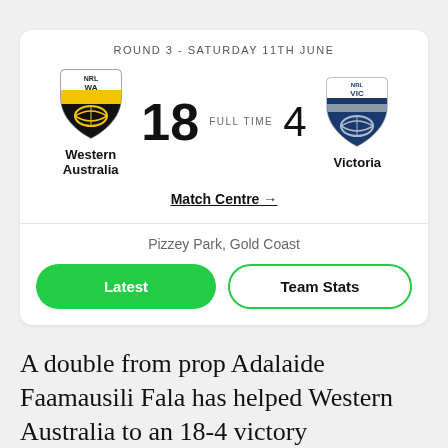ROUND 3 - SATURDAY 11TH JUNE
[Figure (infographic): Match scorecard showing Western Australia (NRL WA shield) vs Victoria (NRL VIC shield), score 18 FULL TIME 4]
Western Australia
Victoria
Match Centre →
Pizzey Park, Gold Coast
Latest
Team Stats
A double from prop Adalaide Faamausili Fala has helped Western Australia to an 18-4 victory